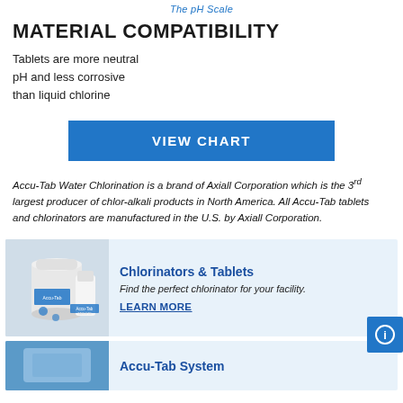The pH Scale
MATERIAL COMPATIBILITY
Tablets are more neutral pH and less corrosive than liquid chlorine
[Figure (other): Blue button labeled VIEW CHART]
Accu-Tab Water Chlorination is a brand of Axiall Corporation which is the 3rd largest producer of chlor-alkali products in North America. All Accu-Tab tablets and chlorinators are manufactured in the U.S. by Axiall Corporation.
[Figure (photo): Photo of Accu-Tab chlorinator units and tablet containers]
Chlorinators & Tablets
Find the perfect chlorinator for your facility.
LEARN MORE
[Figure (photo): Blue product image for Accu-Tab System section]
Accu-Tab System